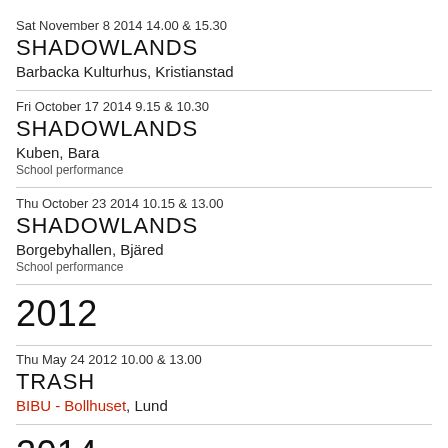Sat November 8 2014 14.00 & 15.30
SHADOWLANDS
Barbacka Kulturhus, Kristianstad
Fri October 17 2014 9.15 & 10.30
SHADOWLANDS
Kuben, Bara
School performance
Thu October 23 2014 10.15 & 13.00
SHADOWLANDS
Borgebyhallen, Bjäred
School performance
2012
Thu May 24 2012 10.00 & 13.00
TRASH
BIBU - Bollhuset, Lund
2014